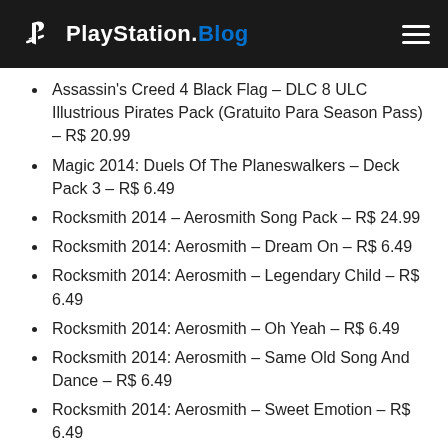PlayStation.Blog
Assassin's Creed 4 Black Flag – DLC 8 ULC Illustrious Pirates Pack (Gratuito Para Season Pass) – R$ 20.99
Magic 2014: Duels Of The Planeswalkers – Deck Pack 3 – R$ 6.49
Rocksmith 2014 – Aerosmith Song Pack – R$ 24.99
Rocksmith 2014: Aerosmith – Dream On – R$ 6.49
Rocksmith 2014: Aerosmith – Legendary Child – R$ 6.49
Rocksmith 2014: Aerosmith – Oh Yeah – R$ 6.49
Rocksmith 2014: Aerosmith – Same Old Song And Dance – R$ 6.49
Rocksmith 2014: Aerosmith – Sweet Emotion – R$ 6.49